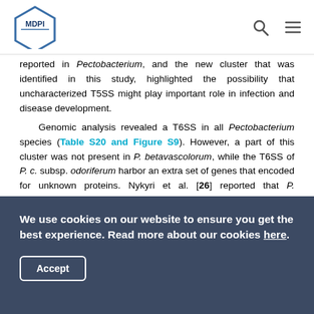MDPI [logo] — search and menu icons
reported in Pectobacterium, and the new cluster that was identified in this study, highlighted the possibility that uncharacterized T5SS might play important role in infection and disease development.
Genomic analysis revealed a T6SS in all Pectobacterium species (Table S20 and Figure S9). However, a part of this cluster was not present in P. betavascolorum, while the T6SS of P. c. subsp. odoriferum harbor an extra set of genes that encoded for unknown proteins. Nykyri et al. [26] reported that P. parmentieri strains SCC3193, WPP163, and P. wasabiae CFBP3304 contain two T6SS whose function seems to be redundant. A handful of functions have been associated with T6SS, including interaction with bacteria, bacteria cell...
We use cookies on our website to ensure you get the best experience. Read more about our cookies here.
Accept